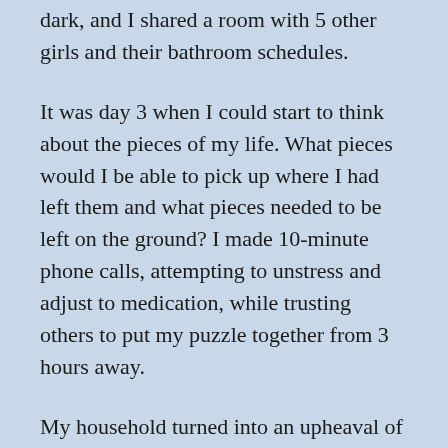dark, and I shared a room with 5 other girls and their bathroom schedules.
It was day 3 when I could start to think about the pieces of my life. What pieces would I be able to pick up where I had left them and what pieces needed to be left on the ground? I made 10-minute phone calls, attempting to unstress and adjust to medication, while trusting others to put my puzzle together from 3 hours away.
My household turned into an upheaval of stress, fights, and arguments. You see, Tanya had gone away. That person that never said “No” and ran around fixing the sinking ship was gone. The ship was sinking, and the